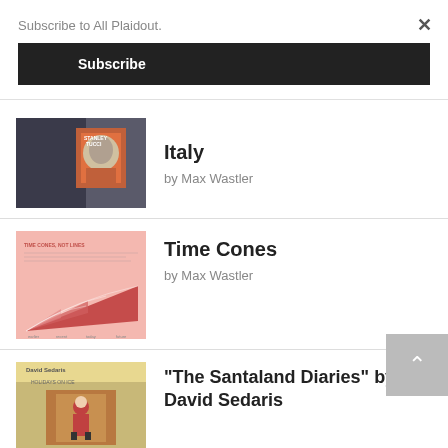Subscribe to All Plaidout.
Subscribe
×
[Figure (photo): Photo of a book about Stanley Tucci and Italy with dark clothing in background]
Italy
by Max Wastler
[Figure (infographic): Pink background diagram with red triangle/cone shapes representing Time Cones article thumbnail]
Time Cones
by Max Wastler
[Figure (photo): Cover of 'Holidays on Ice' by David Sedaris showing a figure in a Santa costume]
“The Santaland Diaries” by David Sedaris